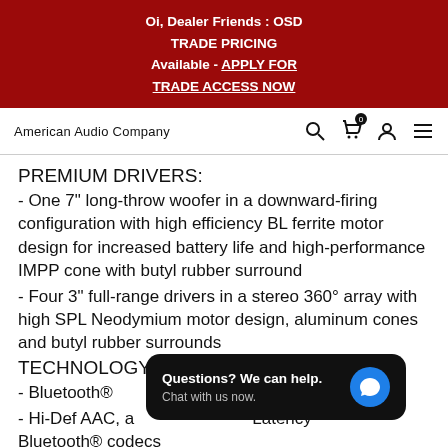Oi, Dealer Friends : OSD TRADE PRICING Available - APPLY FOR TRADE ACCESS NOW
American Audio Company
PREMIUM DRIVERS:
- One 7" long-throw woofer in a downward-firing configuration with high efficiency BL ferrite motor design for increased battery life and high-performance IMPP cone with butyl rubber surround
- Four 3" full-range drivers in a stereo 360° array with high SPL Neodymium motor design, aluminum cones and butyl rubber surrounds
TECHNOLOGY:
- Bluetooth®
- Hi-Def AAC, a Latency Bluetooth® codecs
[Figure (screenshot): Chat popup overlay with text 'Questions? We can help. Chat with us now.' and a blue chat bubble icon on dark background.]